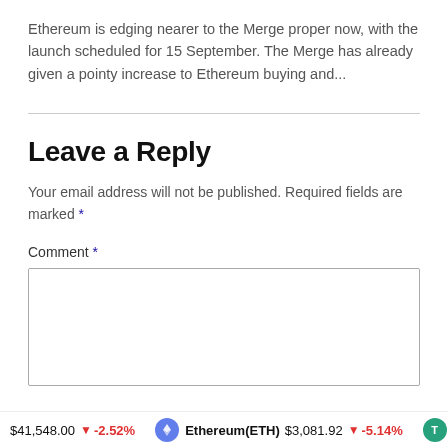Ethereum is edging nearer to the Merge proper now, with the launch scheduled for 15 September. The Merge has already given a pointy increase to Ethereum buying and...
Leave a Reply
Your email address will not be published. Required fields are marked *
Comment *
$41,548.00 ↓ -2.52%  Ethereum(ETH) $3,081.92 ↓ -5.14%  T